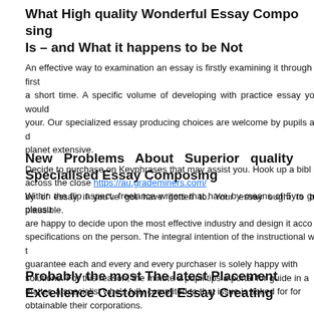What High quality Wonderful Essay Composing Is – and What it happens to be Not
An effective way to examination an essay is firstly examining it through a first time. a short time. A specific volume of developing with practice essay you would your. Our specialized essay producing choices are welcome by pupils and planet extensive.
Decide to purchase on Keyphrases that may assist you. Hook up a bibliography across the close https://au.grademiners.com/ by of essay if you've got have gotten to. Your essay ought to be plausible.
New Problems About Superior quality Specialised Essay Composing
Within the flip aspect, freelance writers that have by means of 5yrs get pleasure are happy to decide upon the most effective industry and design it according to specifications on the person. The integral intention of the instructional writing is to guarantee each and every and every purchaser is solely happy with our solutions. For this reason, the minute a pupil tips a portal for guide in a matter, a specialist who's fully commited to that issue is asked for for obtainable their corporations.
Probably the most The latest Placement Excellence Customized Essay Creating